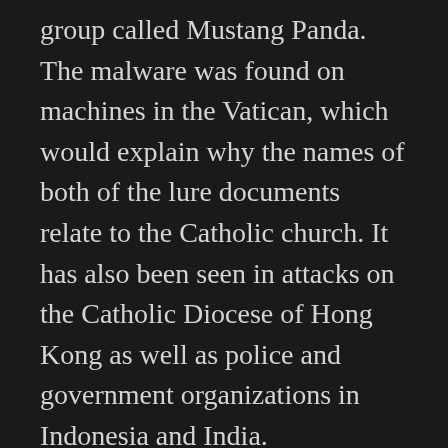group called Mustang Panda. The malware was found on machines in the Vatican, which would explain why the names of both of the lure documents relate to the Catholic church. It has also been seen in attacks on the Catholic Diocese of Hong Kong as well as police and government organizations in Indonesia and India.
There are high-level talks going on between the Vatican and China right now, that have been planned for a couple years – there was an agreement in 2018 and it was expected that it would need to be renewed. The talks relate to how much control the Vatican has over the Catholic organizations in China vs. how much